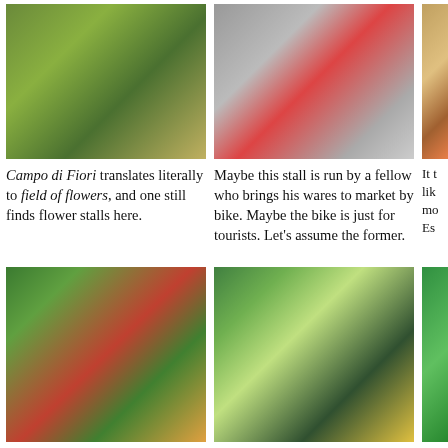[Figure (photo): Market flower stall with flowers and green plants in pots]
Campo di Fiori translates literally to field of flowers, and one still finds flower stalls here.
[Figure (photo): Red bicycle parked at a market stall]
Maybe this stall is run by a fellow who brings his wares to market by bike. Maybe the bike is just for tourists. Let's assume the former.
[Figure (photo): Partial view of market produce on right side]
It t... lik... mo... Es...
[Figure (photo): Outdoor market with people shopping at a produce stall with vegetables and fruits]
More photos of delicious Italian fresh foods.
[Figure (photo): Covered market stall with fresh vegetables, herbs, and produce with shoppers]
For Italian cooking - merely let the ingredients do the work.
[Figure (photo): Partial view of another market stall]
... po...